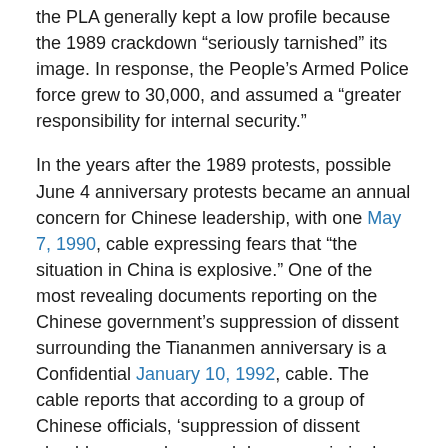the PLA generally kept a low profile because the 1989 crackdown “seriously tarnished” its image. In response, the People’s Armed Police force grew to 30,000, and assumed a “greater responsibility for internal security.”
In the years after the 1989 protests, possible June 4 anniversary protests became an annual concern for Chinese leadership, with one May 7, 1990, cable expressing fears that “the situation in China is explosive.” One of the most revealing documents reporting on the Chinese government’s suppression of dissent surrounding the Tiananmen anniversary is a Confidential January 10, 1992, cable. The cable reports that according to a group of Chinese officials, ‘suppression of dissent should supersede a crackdown on criminal activity. The group resolved to focus efforts on specific elements as follows: